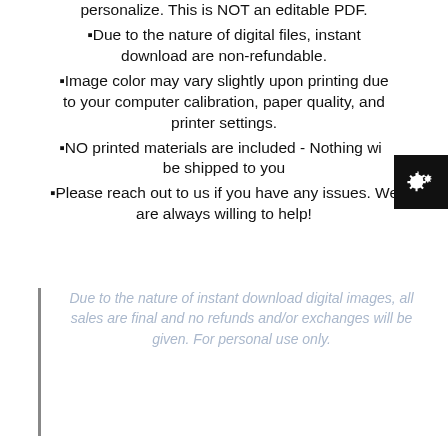personalize. This is NOT an editable PDF.
Due to the nature of digital files, instant download are non-refundable.
Image color may vary slightly upon printing due to your computer calibration, paper quality, and printer settings.
NO printed materials are included - Nothing will be shipped to you
Please reach out to us if you have any issues. We are always willing to help!
Due to the nature of instant download digital images, all sales are final and no refunds and/or exchanges will be given. For personal use only.